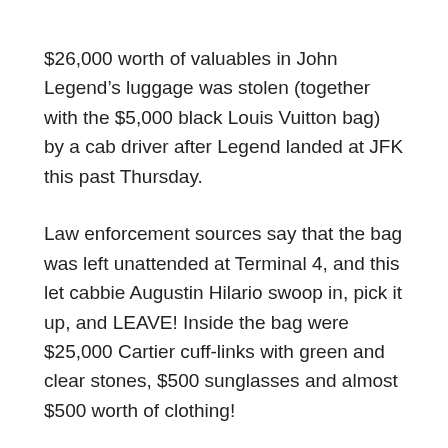$26,000 worth of valuables in John Legend’s luggage was stolen (together with the $5,000 black Louis Vuitton bag) by a cab driver after Legend landed at JFK this past Thursday.
Law enforcement sources say that the bag was left unattended at Terminal 4, and this let cabbie Augustin Hilario swoop in, pick it up, and LEAVE! Inside the bag were $25,000 Cartier cuff-links with green and clear stones, $500 sunglasses and almost $500 worth of clothing!
Legend noticed the bag was missing upon arriving at his hotel and he proceeded to call Delta and Port Authority Police. They viewed the surveillance footage and saw Hilario picking up the ‘Ordinary People’ singer's expensive luggage! Hilario was well known to enforcement officials who then proceeded to charge the 62-year-old with grand larceny.